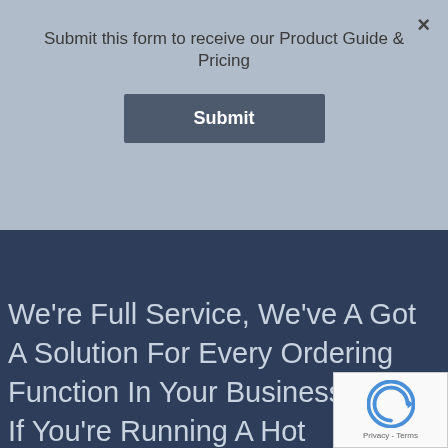Submit this form to receive our Product Guide & Pricing
Submit
Deliverit!
We’re Full Service, We’ve A Got A Solution For Every Ordering Function In Your Business. So, If You’re Running A Hot Takeaway Joint, A Restaurant Or Cafe We Can Help! With Origins In Fast